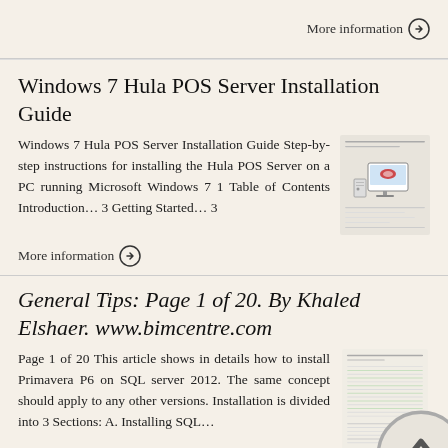More information →
Windows 7 Hula POS Server Installation Guide
Windows 7 Hula POS Server Installation Guide Step-by-step instructions for installing the Hula POS Server on a PC running Microsoft Windows 7 1 Table of Contents Introduction… 3 Getting Started… 3
[Figure (screenshot): Thumbnail screenshot of Windows 7 Hula POS Server Installation Guide document]
More information →
General Tips: Page 1 of 20. By Khaled Elshaer. www.bimcentre.com
Page 1 of 20 This article shows in details how to install Primavera P6 on SQL server 2012. The same concept should apply to any other versions. Installation is divided into 3 Sections: A. Installing SQL…
[Figure (screenshot): Thumbnail screenshot of General Tips article document]